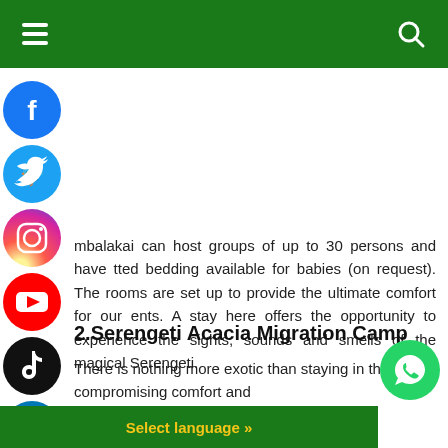Navigation bar with hamburger menu and search icon
[Figure (infographic): Social media icons on left side: Facebook (blue circle), Twitter (blue circle), Instagram (gradient circle), YouTube (red circle), TikTok (black circle), LinkedIn (blue circle)]
mbalakai can host groups of up to 30 persons and have tted bedding available for babies (on request). The rooms are set up to provide the ultimate comfort for our ents. A stay here offers the opportunity to experience the sights, sounds and smells of the magical Serengeti.
2.Serengeti Acacia Migration Camp
There is nothing more exotic than staying in the wil not compromising comfort and conveniently nestled in the Ka
[Figure (infographic): WhatsApp floating button (green circle with phone icon) in bottom right corner]
Select language »